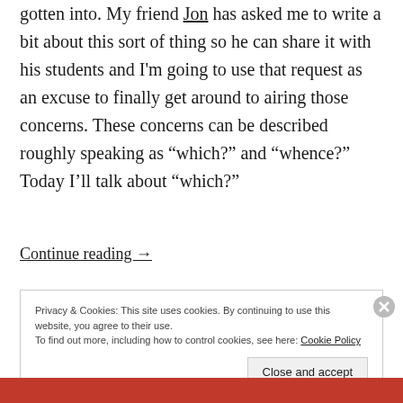gotten into. My friend Jon has asked me to write a bit about this sort of thing so he can share it with his students and I'm going to use that request as an excuse to finally get around to airing those concerns. These concerns can be described roughly speaking as "which?" and "whence?" Today I'll talk about "which?"
Continue reading →
Privacy & Cookies: This site uses cookies. By continuing to use this website, you agree to their use.
To find out more, including how to control cookies, see here: Cookie Policy